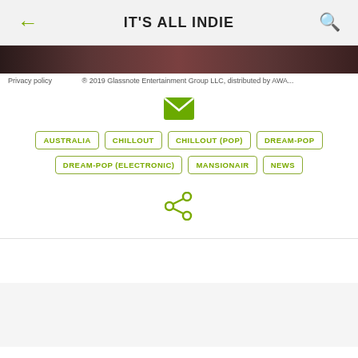IT'S ALL INDIE
[Figure (photo): Dark reddish-brown image bar at top of content area]
Privacy policy   ® 2019 Glassnote Entertainment Group LLC, distributed by AWA...
[Figure (illustration): Green email/envelope icon]
AUSTRALIA
CHILLOUT
CHILLOUT (POP)
DREAM-POP
DREAM-POP (ELECTRONIC)
MANSIONAIR
NEWS
[Figure (illustration): Green share icon]